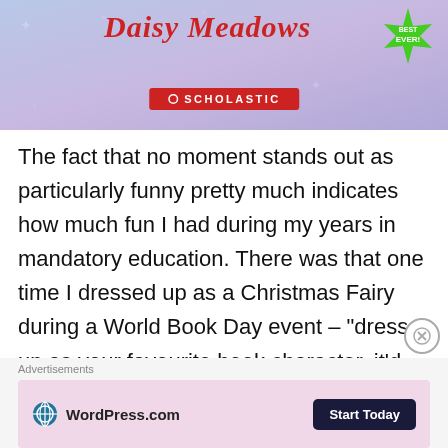[Figure (illustration): Scholastic book banner with 'Daisy Meadows' title in italic red text, Scholastic logo in red badge, purple/blue starry background, green star burst badge with 'EVER!' text]
The fact that no moment stands out as particularly funny pretty much indicates how much fun I had during my years in mandatory education. There was that one time I dressed up as a Christmas Fairy during a World Book Day event – “dress up as your favourite book character, it’d be fun!” they said. Whilst I looked amazing in a puffed up Santa-inspired dress and a random set of fairy wings, the other kids in my
Advertisements
[Figure (screenshot): WordPress.com advertisement with pink background, WordPress globe logo, 'WordPress.com' text, and dark navy 'Start Today' button]